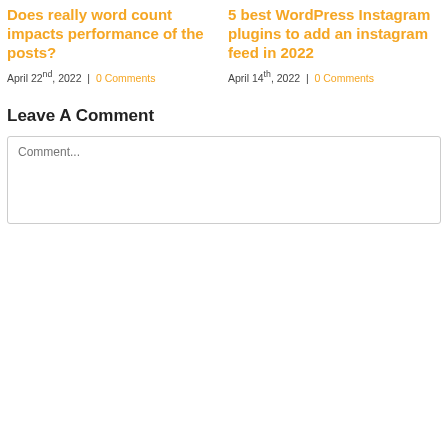Does really word count impacts performance of the posts?
April 22nd, 2022  |  0 Comments
5 best WordPress Instagram plugins to add an instagram feed in 2022
April 14th, 2022  |  0 Comments
Leave A Comment
Comment...